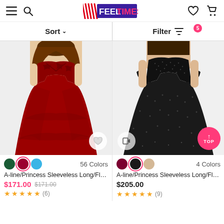FEELTIMES
Sort ∨
Filter 5
[Figure (photo): Burgundy/wine red A-line princess sleeveless long floral ball gown dress on a model, with wishlist heart button]
56 Colors
A-line/Princess Sleeveless Long/Flo...
$171.00  $171.00
★★★★★ (6)
[Figure (photo): Black sequin A-line princess sleeveless long floral ball gown dress on a model, with video button and TOP button]
4 Colors
A-line/Princess Sleeveless Long/Flo...
$205.00
★★★★★ (9)